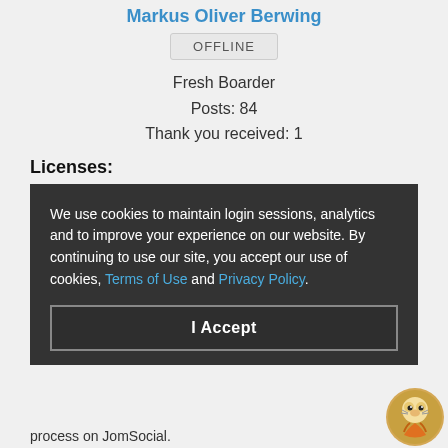Markus Oliver Berwing
OFFLINE
Fresh Boarder
Posts: 84
Thank you received: 1
Licenses:
We use cookies to maintain login sessions, analytics and to improve your experience on our website. By continuing to use our site, you accept our use of cookies, Terms of Use and Privacy Policy.
I Accept
process on JomSocial.